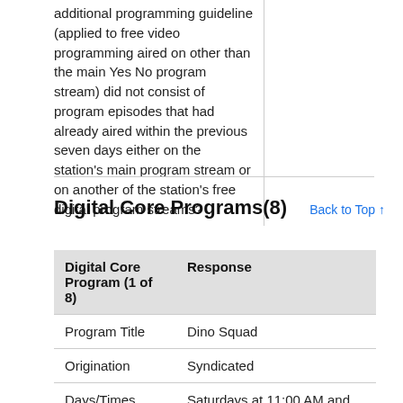additional programming guideline (applied to free video programming aired on other than the main program stream) did not consist of program episodes that had already aired within the previous seven days either on the station's main program stream or on another of the station's free digital program streams?
Digital Core Programs(8)
Back to Top ↑
| Digital Core Program (1 of 8) | Response |
| --- | --- |
| Program Title | Dino Squad |
| Origination | Syndicated |
| Days/Times | Saturdays at 11:00 AM and |